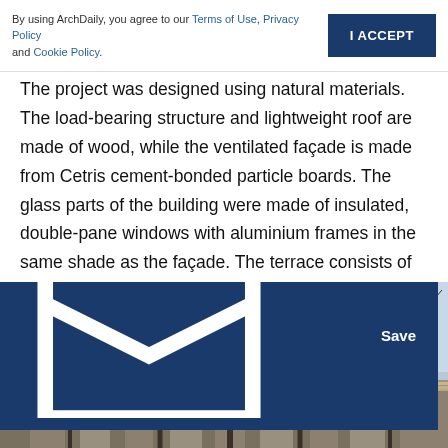By using ArchDaily, you agree to our Terms of Use, Privacy Policy and Cookie Policy.  [I ACCEPT button]
The project was designed using natural materials. The load-bearing structure and lightweight roof are made of wood, while the ventilated façade is made from Cetris cement-bonded particle boards. The glass parts of the building were made of insulated, double-pane windows with aluminium frames in the same shade as the façade. The terrace consists of steel girders and a wooden deck.
[Figure (photo): Exterior photograph of a building with a terrace made of steel girders and a wooden deck, surrounded by bare winter trees against a light blue sky. A dark blue 'Save' button is overlaid in the lower right.]